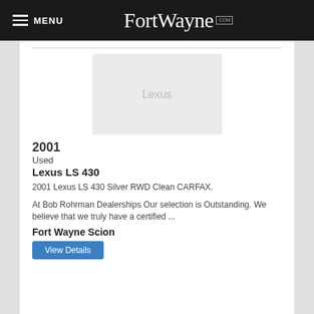MENU  FortWayne.com
[Figure (photo): Placeholder image for Lexus vehicle listing showing 'Lexus' text on a light gray background]
2001
Used
Lexus LS 430
2001 Lexus LS 430 Silver RWD Clean CARFAX.
At Bob Rohrman Dealerships Our selection is Outstanding. We believe that we truly have a certified ...
Fort Wayne Scion
View Details